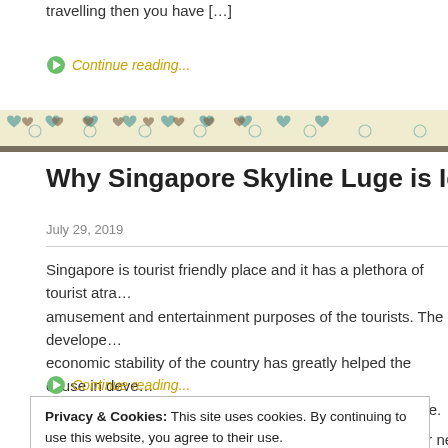travelling then you have […]
Continue reading...
[Figure (illustration): Decorative banner with hearts and swirl patterns in teal, brown, and cream colors]
Why Singapore Skyline Luge is Ideal for Family …
July 29, 2019
Singapore is tourist friendly place and it has a plethora of tourist atra… amusement and entertainment purposes of the tourists. The develope… economic stability of the country has greatly helped the cause in deve… places where visitors can go together in groups and rejoice. There are…
Continue reading...
Privacy & Cookies: This site uses cookies. By continuing to use this website, you agree to their use.
To find out more, including how to control cookies, see here: Cookie Policy
Close and accept
Travelling to Singapore? Is the fascinating Lion city is your next trave…